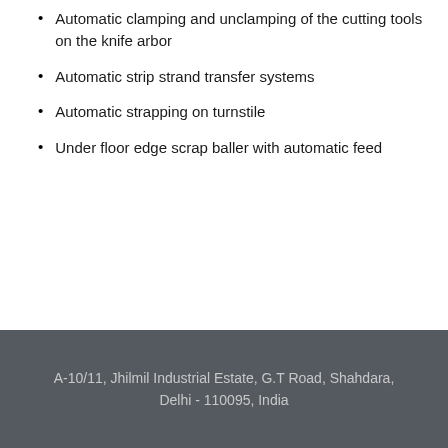Automatic clamping and unclamping of the cutting tools on the knife arbor
Automatic strip strand transfer systems
Automatic strapping on turnstile
Under floor edge scrap baller with automatic feed
A-10/11, Jhilmil Industrial Estate, G.T Road, Shahdara, Delhi - 110095, India